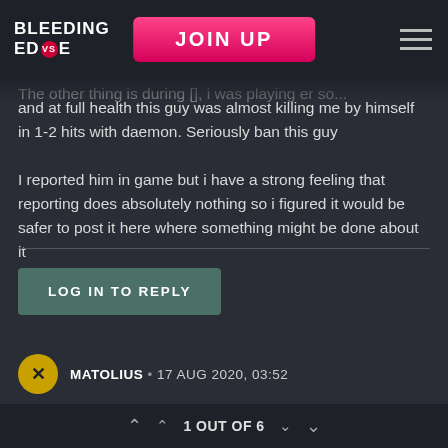BLEEDING EDGE | JOIN UP
The other thing is during [obscured], i was playing er so... and at full health this guy was almost killing me by himself in 1-2 hits with daemon. Seriously ban this guy
I reported him in game but i have a strong feeling that reporting does absolutely nothing so i figured it would be safer to post it here where something might be done about it
LOG IN TO REPLY
MATOLIUS • 17 AUG 2020, 03:52
@ShadoWawker
1 OUT OF 6